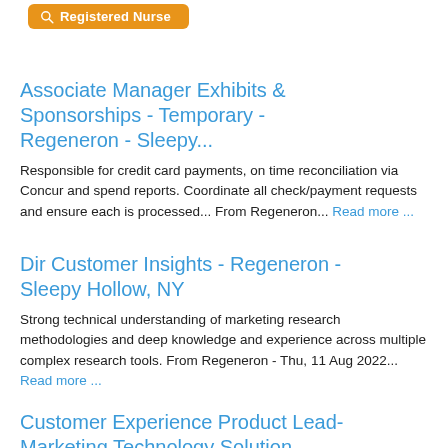[Figure (screenshot): Orange search button with magnifier icon and text 'Registered Nurse']
Associate Manager Exhibits & Sponsorships - Temporary - Regeneron - Sleepy...
Responsible for credit card payments, on time reconciliation via Concur and spend reports. Coordinate all check/payment requests and ensure each is processed... From Regeneron... Read more ...
Dir Customer Insights - Regeneron - Sleepy Hollow, NY
Strong technical understanding of marketing research methodologies and deep knowledge and experience across multiple complex research tools. From Regeneron - Thu, 11 Aug 2022... Read more ...
Customer Experience Product Lead- Marketing Technology Solution...